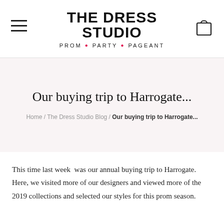THE DRESS STUDIO · PROM · PARTY · PAGEANT
Our buying trip to Harrogate...
Home / The Dress Studio Blog / Our buying trip to Harrogate...
This time last week  was our annual buying trip to Harrogate. Here, we visited more of our designers and viewed more of the 2019 collections and selected our styles for this prom season.